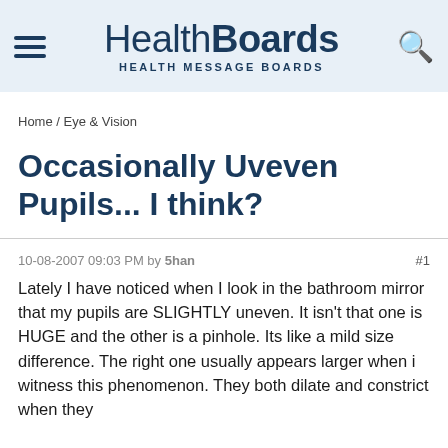HealthBoards HEALTH MESSAGE BOARDS
Home / Eye & Vision
Occasionally Uveven Pupils... I think?
10-08-2007 09:03 PM by 5han  #1
Lately I have noticed when I look in the bathroom mirror that my pupils are SLIGHTLY uneven. It isn't that one is HUGE and the other is a pinhole. Its like a mild size difference. The right one usually appears larger when i witness this phenomenon. They both dilate and constrict when they